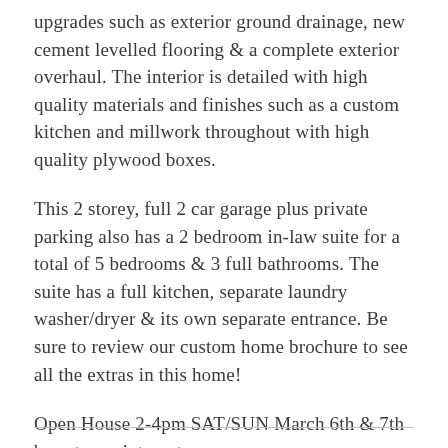upgrades such as exterior ground drainage, new cement levelled flooring & a complete exterior overhaul. The interior is detailed with high quality materials and finishes such as a custom kitchen and millwork throughout with high quality plywood boxes.
This 2 storey, full 2 car garage plus private parking also has a 2 bedroom in-law suite for a total of 5 bedrooms & 3 full bathrooms. The suite has a full kitchen, separate laundry washer/dryer & its own separate entrance. Be sure to review our custom home brochure to see all the extras in this home!
Open House 2-4pm SAT/SUN March 6th & 7th by set appointment.